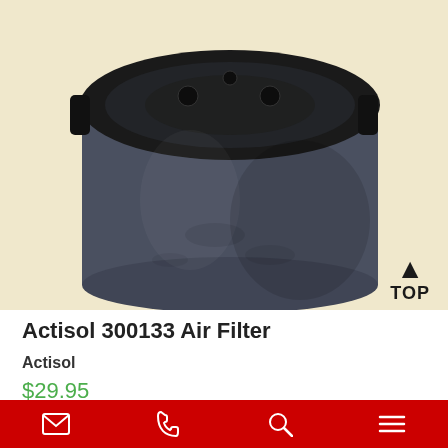[Figure (photo): Product photo of Actisol 300133 Air Filter — a round black plastic air filter housing viewed from a slight top-down angle, with mounting holes visible on top. A 'TOP' arrow indicator is shown in the lower-right of the image area. Background is cream/tan colored.]
Actisol 300133 Air Filter
Actisol
$29.95
Navigation bar with email, phone, search, and menu icons